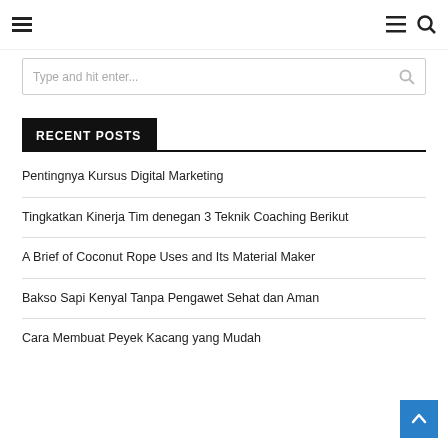Navigation bar with hamburger menu and search/menu icons
[Figure (screenshot): Search input box with placeholder text 'Type and hit enter...' and a search icon on the right]
RECENT POSTS
Pentingnya Kursus Digital Marketing
Tingkatkan Kinerja Tim denegan 3 Teknik Coaching Berikut
A Brief of Coconut Rope Uses and Its Material Maker
Bakso Sapi Kenyal Tanpa Pengawet Sehat dan Aman
Cara Membuat Peyek Kacang yang Mudah